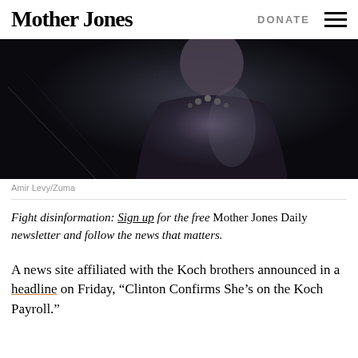Mother Jones | DONATE
[Figure (photo): A woman in a black leather jacket and beaded necklace photographed against a dark background.]
Amir Levy/Zuma
Fight disinformation: Sign up for the free Mother Jones Daily newsletter and follow the news that matters.
A news site affiliated with the Koch brothers announced in a headline on Friday, “Clinton Confirms She’s on the Koch Payroll.”